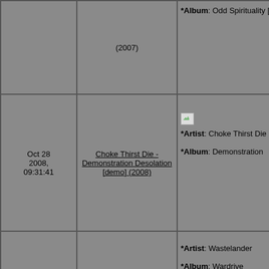| Date | Album | Info | Users |
| --- | --- | --- | --- |
|  | (2007) | *Album: Odd Spirituality [en] | Tino
vasil
vov7 |
| Oct 28 2008, 09:31:41 | Choke Thirst Die - Demonstration Desolation [demo] (2008) | *Artist: Choke Thirst Die
*Album: Demonstration | (7) a
HMHI
The
renra |
| Oct 28 2008, 05:41:09 | Wastelander - Wardrive (2008) | *Artist: Wastelander
*Album: Wardrive
... ---- | (13)
Fire
HMHI
maco
Maro
meta
varla
white |
| Oct 19 2008, 12:01:20 | Gorgon - Force [single] (1999) | *Artist: Gorgon
*Album: Force [single]
... ---- | (3) H
sata |
|  | The Satan's |  | (9) a
maca |